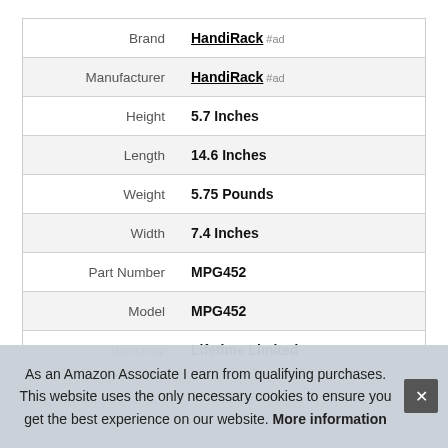| Attribute | Value |
| --- | --- |
| Brand | HandiRack #ad |
| Manufacturer | HandiRack #ad |
| Height | 5.7 Inches |
| Length | 14.6 Inches |
| Weight | 5.75 Pounds |
| Width | 7.4 Inches |
| Part Number | MPG452 |
| Model | MPG452 |
| Warranty | Lifetime Limited |
As an Amazon Associate I earn from qualifying purchases. This website uses the only necessary cookies to ensure you get the best experience on our website. More information